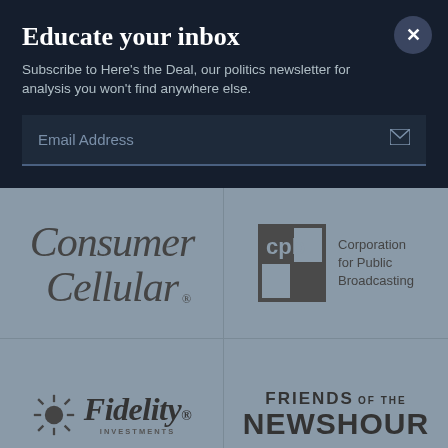Educate your inbox
Subscribe to Here's the Deal, our politics newsletter for analysis you won't find anywhere else.
Email Address
[Figure (logo): Consumer Cellular logo in italic serif font]
[Figure (logo): CPB (Corporation for Public Broadcasting) logo with dark square graphic and text]
[Figure (logo): Fidelity Investments logo with sunburst icon]
[Figure (logo): Friends of the NewsHour logo in bold sans-serif uppercase text]